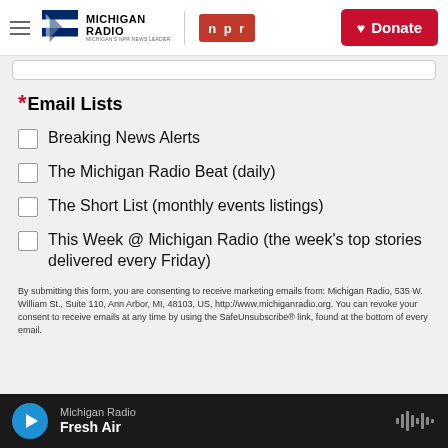[Figure (logo): Michigan Radio and NPR logos with hamburger menu and Donate button in header]
* Email Lists
Breaking News Alerts
The Michigan Radio Beat (daily)
The Short List (monthly events listings)
This Week @ Michigan Radio (the week's top stories delivered every Friday)
By submitting this form, you are consenting to receive marketing emails from: Michigan Radio, 535 W. William St., Suite 110, Ann Arbor, MI, 48103, US, http://www.michiganradio.org. You can revoke your consent to receive emails at any time by using the SafeUnsubscribe® link, found at the bottom of every email.
Michigan Radio / Fresh Air